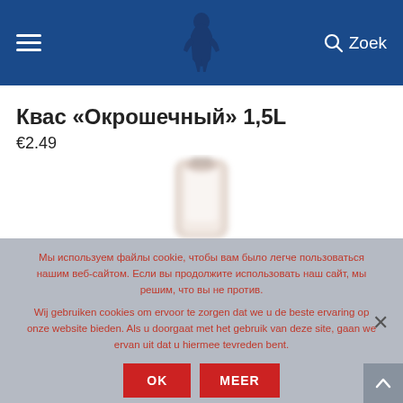≡  [logo]  🔍 Zoek
Квас «Окрошечный» 1,5L
€2.49
[Figure (photo): Blurred product photo of a 1.5L bottle of Kvass]
Мы используем файлы cookie, чтобы вам было легче пользоваться нашим веб-сайтом. Если вы продолжите использовать наш сайт, мы решим, что вы не против.

Wij gebruiken cookies om ervoor te zorgen dat we u de beste ervaring op onze website bieden. Als u doorgaat met het gebruik van deze site, gaan we ervan uit dat u hiermee tevreden bent.